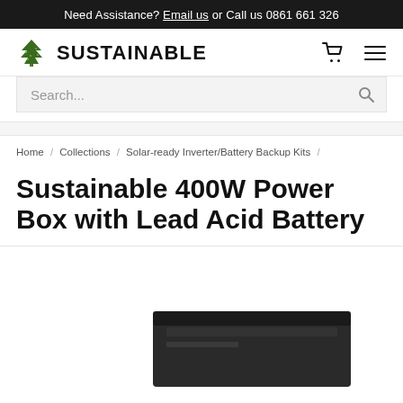Need Assistance? Email us or Call us 0861 661 326
[Figure (logo): Sustainable brand logo with green tree icon and text SUSTAINABLE]
Search...
Home / Collections / Solar-ready Inverter/Battery Backup Kits /
Sustainable 400W Power Box with Lead Acid Battery
[Figure (photo): Product photo showing the Sustainable 400W Power Box with Lead Acid Battery, a dark-colored box unit, partially visible at bottom of page]